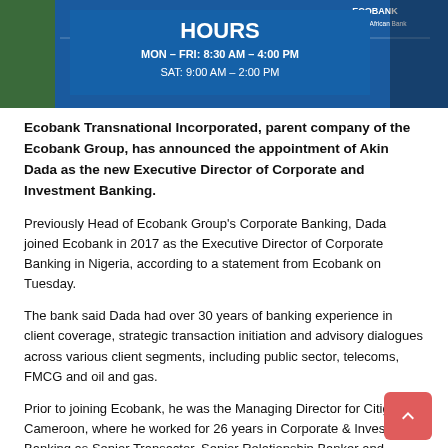[Figure (photo): Ecobank branch exterior showing blue signage with hours: MON-FRI: 8:30 AM - 4:00 PM, SAT: 9:00 AM - 2:00 PM, with Ecobank The Pan African Bank logo]
Ecobank Transnational Incorporated, parent company of the Ecobank Group, has announced the appointment of Akin Dada as the new Executive Director of Corporate and Investment Banking.
Previously Head of Ecobank Group’s Corporate Banking, Dada joined Ecobank in 2017 as the Executive Director of Corporate Banking in Nigeria, according to a statement from Ecobank on Tuesday.
The bank said Dada had over 30 years of banking experience in client coverage, strategic transaction initiation and advisory dialogues across various client segments, including public sector, telecoms, FMCG and oil and gas.
Prior to joining Ecobank, he was the Managing Director for Citigroup Cameroon, where he worked for 26 years in Corporate & Investment Banking as Senior Transactor, Senior Relationship Banker and Business Development Manager.